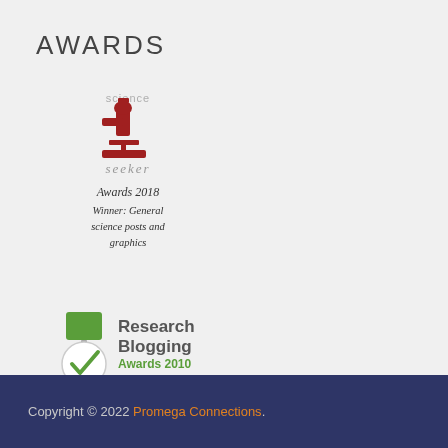AWARDS
[Figure (logo): Science Seeker Awards 2018 logo with microscope icon and cursive text: Awards 2018 Winner: General science posts and graphics]
[Figure (logo): Research Blogging Awards 2010 Finalist badge with green medal and checkmark]
Copyright © 2022 Promega Connections.